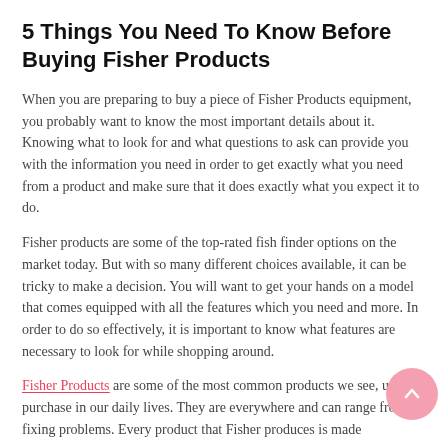5 Things You Need To Know Before Buying Fisher Products
When you are preparing to buy a piece of Fisher Products equipment, you probably want to know the most important details about it. Knowing what to look for and what questions to ask can provide you with the information you need in order to get exactly what you need from a product and make sure that it does exactly what you expect it to do.
Fisher products are some of the top-rated fish finder options on the market today. But with so many different choices available, it can be tricky to make a decision. You will want to get your hands on a model that comes equipped with all the features which you need and more. In order to do so effectively, it is important to know what features are necessary to look for while shopping around.
Fisher Products are some of the most common products we see, use and purchase in our daily lives. They are everywhere and can range from fixing problems. Every product that Fisher produces is made